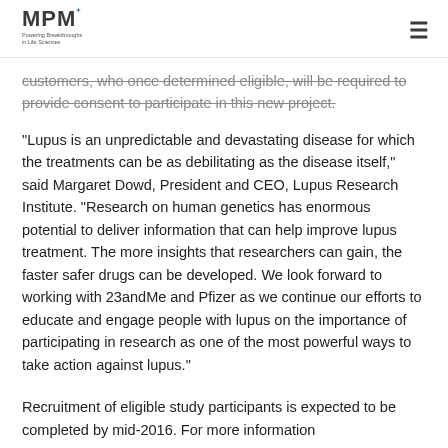MPM Powering Breakthroughs in Life Sciences
customers, who once determined eligible, will be required to provide consent to participate in this new project.
“Lupus is an unpredictable and devastating disease for which the treatments can be as debilitating as the disease itself,” said Margaret Dowd, President and CEO, Lupus Research Institute. “Research on human genetics has enormous potential to deliver information that can help improve lupus treatment. The more insights that researchers can gain, the faster safer drugs can be developed. We look forward to working with 23andMe and Pfizer as we continue our efforts to educate and engage people with lupus on the importance of participating in research as one of the most powerful ways to take action against lupus.”
Recruitment of eligible study participants is expected to be completed by mid-2016. For more information